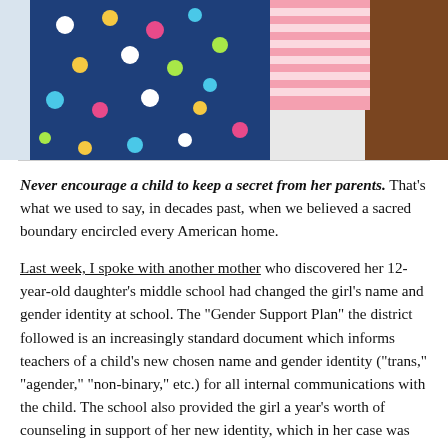[Figure (photo): Photo showing a child wearing a navy blue polka-dot backpack with colorful dots and a pink striped sleeve visible, with a brown wooden element to the right.]
Never encourage a child to keep a secret from her parents. That's what we used to say, in decades past, when we believed a sacred boundary encircled every American home.
Last week, I spoke with another mother who discovered her 12-year-old daughter's middle school had changed the girl's name and gender identity at school. The "Gender Support Plan" the district followed is an increasingly standard document which informs teachers of a child's new chosen name and gender identity ("trans," "agender," "non-binary," etc.) for all internal communications with the child. The school also provided the girl a year's worth of counseling in support of her new identity, which in her case was "no